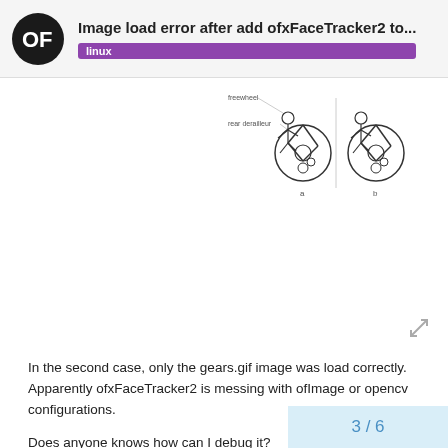Image load error after add ofxFaceTracker2 to... linux
[Figure (illustration): A technical bicycle diagram showing freewheel and rear derailleur components with labels, displayed as a sketch/line drawing.]
In the second case, only the gears.gif image was load correctly. Apparently ofxFaceTracker2 is messing with ofImage or opencv configurations.
Does anyone knows how can I debug it?
3 / 6